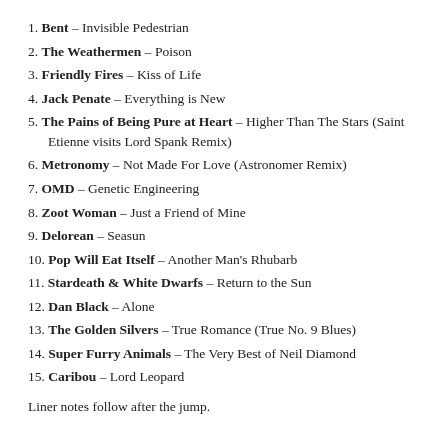1. Bent – Invisible Pedestrian
2. The Weathermen – Poison
3. Friendly Fires – Kiss of Life
4. Jack Penate – Everything is New
5. The Pains of Being Pure at Heart – Higher Than The Stars (Saint Etienne visits Lord Spank Remix)
6. Metronomy – Not Made For Love (Astronomer Remix)
7. OMD – Genetic Engineering
8. Zoot Woman – Just a Friend of Mine
9. Delorean – Seasun
10. Pop Will Eat Itself – Another Man's Rhubarb
11. Stardeath & White Dwarfs – Return to the Sun
12. Dan Black – Alone
13. The Golden Silvers – True Romance (True No. 9 Blues)
14. Super Furry Animals – The Very Best of Neil Diamond
15. Caribou – Lord Leopard
Liner notes follow after the jump.